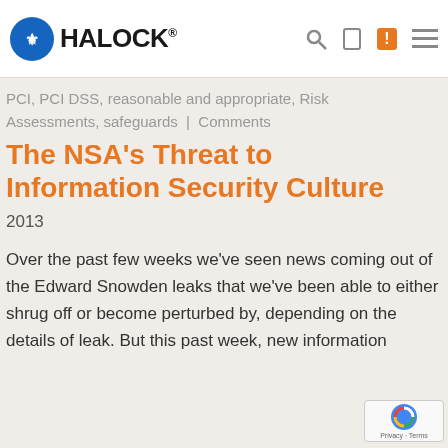HALOCK
PCI, PCI DSS, reasonable and appropriate, Risk Assessments, safeguards | Comments
The NSA's Threat to Information Security Culture
2013
Over the past few weeks we've seen news coming out of the Edward Snowden leaks that we've been able to either shrug off or become perturbed by, depending on the details of leak. But this past week, new information